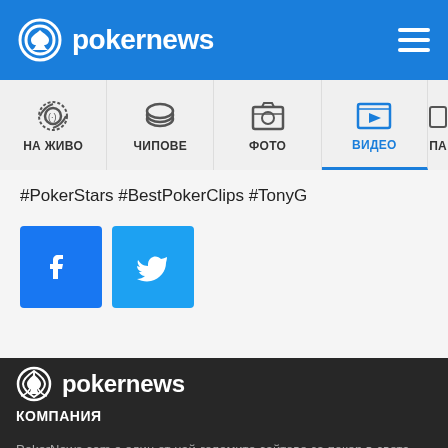pokernews
[Figure (screenshot): Navigation bar with icons: НА ЖИВО (live), ЧИПОВЕ (chips), ФОТО (photo), ВИДЕО (video, active/highlighted in blue), ПА (partial, cut off)]
#PokerStars #BestPokerClips #TonyG
[Figure (infographic): Social share buttons: Facebook (blue) and Twitter (blue bird icon)]
[Figure (logo): PokerNews logo in white on dark background]
КОМПАНИЯ
PokerNews.com е един от най-големите сайтове за покер в света. На нашата страница ще намерите освен местни и международни покер новини, множество стратегии за